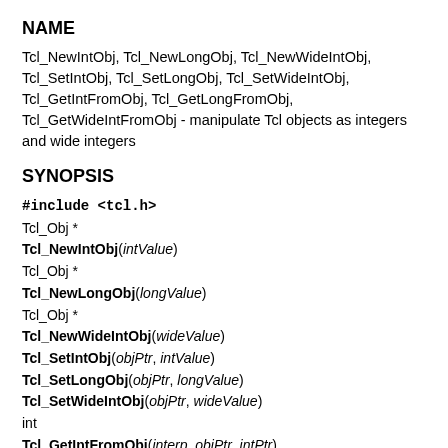NAME
Tcl_NewIntObj, Tcl_NewLongObj, Tcl_NewWideIntObj, Tcl_SetIntObj, Tcl_SetLongObj, Tcl_SetWideIntObj, Tcl_GetIntFromObj, Tcl_GetLongFromObj, Tcl_GetWideIntFromObj - manipulate Tcl objects as integers and wide integers
SYNOPSIS
#include <tcl.h>
Tcl_Obj *
Tcl_NewIntObj(intValue)
Tcl_Obj *
Tcl_NewLongObj(longValue)
Tcl_Obj *
Tcl_NewWideIntObj(wideValue)
Tcl_SetIntObj(objPtr, intValue)
Tcl_SetLongObj(objPtr, longValue)
Tcl_SetWideIntObj(objPtr, wideValue)
int
Tcl_GetIntFromObj(interp, objPtr, intPtr)
int
Tcl_GetLongFromObj(interp, objPtr, longPtr)